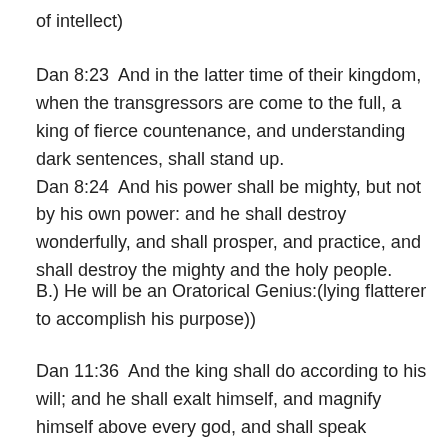of intellect)
Dan 8:23  And in the latter time of their kingdom, when the transgressors are come to the full, a king of fierce countenance, and understanding dark sentences, shall stand up.
Dan 8:24  And his power shall be mighty, but not by his own power: and he shall destroy wonderfully, and shall prosper, and practice, and shall destroy the mighty and the holy people.
B.) He will be an Oratorical Genius:(lying flatterer to accomplish his purpose))
Dan 11:36  And the king shall do according to his will; and he shall exalt himself, and magnify himself above every god, and shall speak marvellous things against the